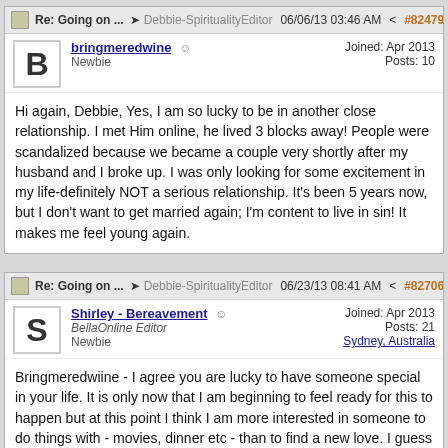Re: Going on ... → Debbie-SpiritualityEditor 06/06/13 03:46 AM < #824795
bringmeredwine  Newbie  Joined: Apr 2013  Posts: 10
Hi again, Debbie, Yes, I am so lucky to be in another close relationship. I met Him online, he lived 3 blocks away! People were scandalized because we became a couple very shortly after my husband and I broke up. I was only looking for some excitement in my life-definitely NOT a serious relationship. It's been 5 years now, but I don't want to get married again; I'm content to live in sin! It makes me feel young again.
Re: Going on ... → Debbie-SpiritualityEditor 06/23/13 08:41 AM < #827069
Shirley - Bereavement  BellaOnline Editor  Newbie  Joined: Apr 2013  Posts: 21  Sydney, Australia
Bringmeredwiine - I agree you are lucky to have someone special in your life. It is only now that I am beginning to feel ready for this to happen but at this point I think I am more interested in someone to do things with - movies, dinner etc - than to find a new love. I guess only time will tell.